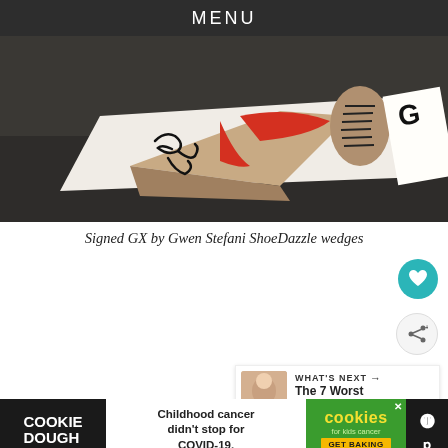MENU
[Figure (photo): Photo of signed GX by Gwen Stefani ShoeDazzle wedge heels — beige/tan wedge platform shoes with red straps and black lace-up detail, with a signature on the wedge, displayed on white surface with dark background]
Signed GX by Gwen Stefani ShoeDazzle wedges
[Figure (screenshot): Social media sharing UI with teal heart/favorite button and grey share button on the right side, and a 'What's Next' card showing thumbnail and text 'The 7 Worst Dressed...' with a cookie/baking ad banner at the bottom reading 'COOKIE DOUGH - Childhood cancer didn't stop for COVID-19. cookies for kids cancer GET BAKING']